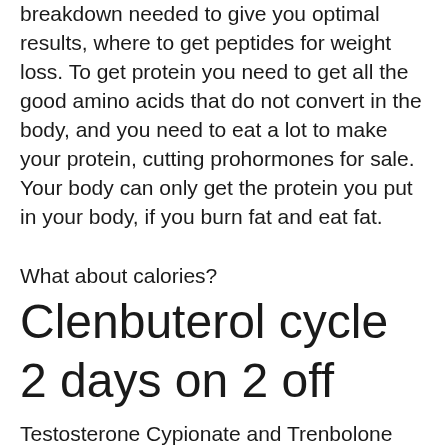breakdown needed to give you optimal results, where to get peptides for weight loss. To get protein you need to get all the good amino acids that do not convert in the body, and you need to eat a lot to make your protein, cutting prohormones for sale. Your body can only get the protein you put in your body, if you burn fat and eat fat.
What about calories?
Clenbuterol cycle 2 days on 2 off
Testosterone Cypionate and Trenbolone Enanthate are both long-estered anabolic steroids and therefore are best suited for longer cycles (in this case, the aim is a 3 month or 12 week cycle of each)with moderate recovery between cycles. DHT and estrogen are not long-term anabolic steroids and it's unlikely that you'll encounter them